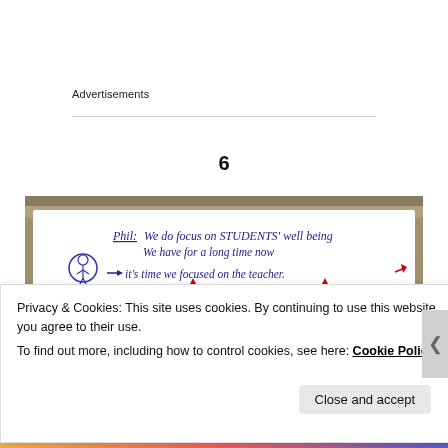Advertisements
6
[Figure (photo): A handwritten note on white paper placed against a stone/rock background. The note reads: 'Phil: We do focus on STUDENTS' well being we have for a long time now → it's time we focused on the teacher.' with red arrow annotations and a small cartoon drawing of a person on the left.]
Privacy & Cookies: This site uses cookies. By continuing to use this website, you agree to their use.
To find out more, including how to control cookies, see here: Cookie Policy